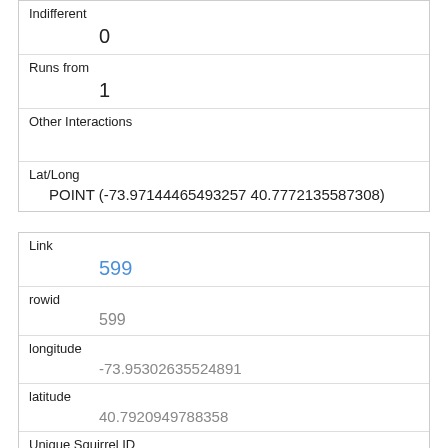| Indifferent | 0 |
| Runs from | 1 |
| Other Interactions |  |
| Lat/Long | POINT (-73.97144465493257 40.7772135587308) |
| Link | 599 |
| rowid | 599 |
| longitude | -73.95302635524891 |
| latitude | 40.7920949788358 |
| Unique Squirrel ID | 36I-PM-1007-05 |
| Hectare | 36I |